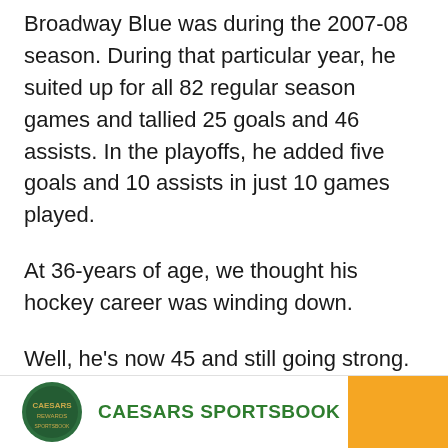Broadway Blue was during the 2007-08 season. During that particular year, he suited up for all 82 regular season games and tallied 25 goals and 46 assists. In the playoffs, he added five goals and 10 assists in just 10 games played.
At 36-years of age, we thought his hockey career was winding down.
Well, he's now 45 and still going strong.
ESNY's Daniel Federico recently pondered whether Jeff Gorton should look at re-signing the veteran sure-fire Hockey Hall of Fame forward.
[Figure (logo): Caesars Sportsbook advertisement banner with green circular logo and orange button]